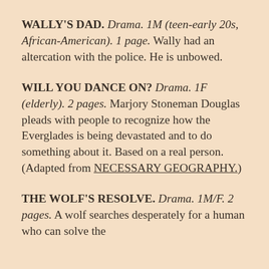WALLY'S DAD. Drama. 1M (teen-early 20s, African-American). 1 page. Wally had an altercation with the police. He is unbowed.
WILL YOU DANCE ON? Drama. 1F (elderly). 2 pages. Marjory Stoneman Douglas pleads with people to recognize how the Everglades is being devastated and to do something about it. Based on a real person. (Adapted from NECESSARY GEOGRAPHY.)
THE WOLF'S RESOLVE. Drama. 1M/F. 2 pages. A wolf searches desperately for a human who can solve the…